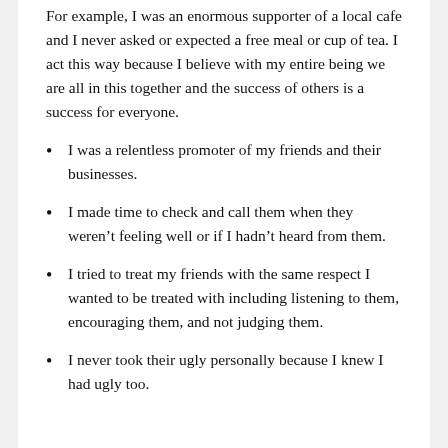For example, I was an enormous supporter of a local cafe and I never asked or expected a free meal or cup of tea. I act this way because I believe with my entire being we are all in this together and the success of others is a success for everyone.
I was a relentless promoter of my friends and their businesses.
I made time to check and call them when they weren't feeling well or if I hadn't heard from them.
I tried to treat my friends with the same respect I wanted to be treated with including listening to them, encouraging them, and not judging them.
I never took their ugly personally because I knew I had ugly too.